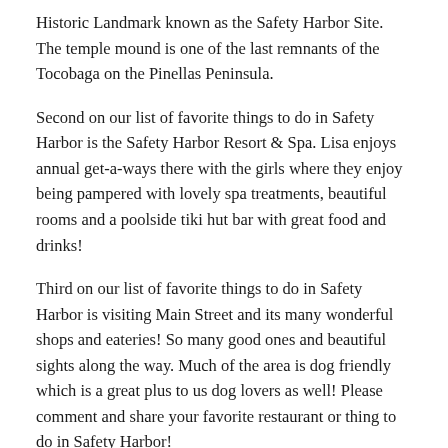Historic Landmark known as the Safety Harbor Site. The temple mound is one of the last remnants of the Tocobaga on the Pinellas Peninsula.
Second on our list of favorite things to do in Safety Harbor is the Safety Harbor Resort & Spa. Lisa enjoys annual get-a-ways there with the girls where they enjoy being pampered with lovely spa treatments, beautiful rooms and a poolside tiki hut bar with great food and drinks!
Third on our list of favorite things to do in Safety Harbor is visiting Main Street and its many wonderful shops and eateries! So many good ones and beautiful sights along the way. Much of the area is dog friendly which is a great plus to us dog lovers as well! Please comment and share your favorite restaurant or thing to do in Safety Harbor!